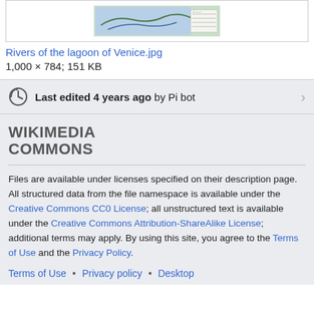[Figure (map): Thumbnail map image of rivers of the lagoon of Venice]
Rivers of the lagoon of Venice.jpg
1,000 × 784; 151 KB
Last edited 4 years ago by Pi bot
WIKIMEDIA
COMMONS
Files are available under licenses specified on their description page. All structured data from the file namespace is available under the Creative Commons CC0 License; all unstructured text is available under the Creative Commons Attribution-ShareAlike License; additional terms may apply. By using this site, you agree to the Terms of Use and the Privacy Policy.
Terms of Use • Privacy policy • Desktop